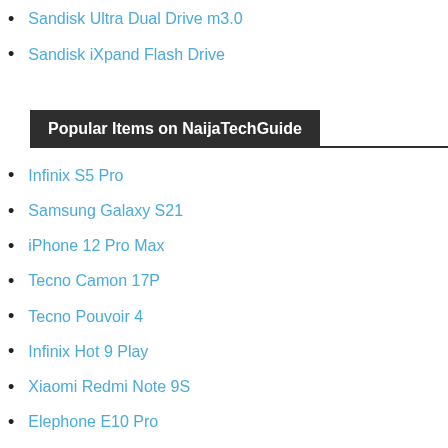Sandisk Ultra Dual Drive m3.0
Sandisk iXpand Flash Drive
Popular Items on NaijaTechGuide
Infinix S5 Pro
Samsung Galaxy S21
iPhone 12 Pro Max
Tecno Camon 17P
Tecno Pouvoir 4
Infinix Hot 9 Play
Xiaomi Redmi Note 9S
Elephone E10 Pro
Samsung Galaxy Note 10 Plus
Samsung Galaxy A10s